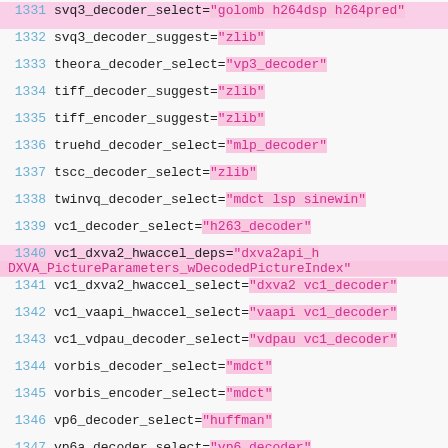1331 svq3_decoder_select="golomb h264dsp h264pred"
1332 svq3_decoder_suggest="zlib"
1333 theora_decoder_select="vp3_decoder"
1334 tiff_decoder_suggest="zlib"
1335 tiff_encoder_suggest="zlib"
1336 truehd_decoder_select="mlp_decoder"
1337 tscc_decoder_select="zlib"
1338 twinvq_decoder_select="mdct lsp sinewin"
1339 vc1_decoder_select="h263_decoder"
1340 vc1_dxva2_hwaccel_deps="dxva2api_h DXVA_PictureParameters_wDecodedPictureIndex"
1341 vc1_dxva2_hwaccel_select="dxva2 vc1_decoder"
1342 vc1_vaapi_hwaccel_select="vaapi vc1_decoder"
1343 vc1_vdpau_decoder_select="vdpau vc1_decoder"
1344 vorbis_decoder_select="mdct"
1345 vorbis_encoder_select="mdct"
1346 vp6_decoder_select="huffman"
1347 vp6a_decoder_select="vp6_decoder"
1348 vp6f_decoder_select="vp6_decoder"
1349 vp8_decoder_select="h264pred"
1350 wmapro_decoder_select="mdct sinewin"
1351 wmav1_decoder_select="mdct sinewin"
1352 wmav1_encoder_select="mdct sinewin"
1353 wmav2_decoder_select="mdct sinewin"
1354 wmav2_encoder_select="mdct sinewin"